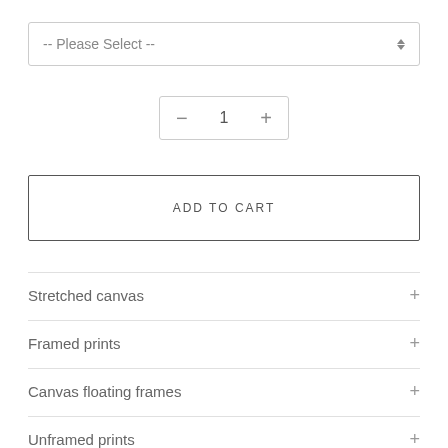-- Please Select --
- 1 +
ADD TO CART
Stretched canvas
Framed prints
Canvas floating frames
Unframed prints